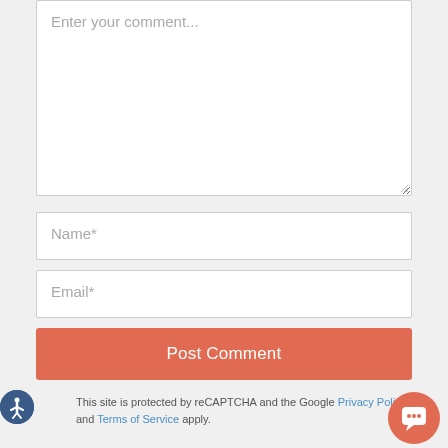Enter your comment...
Name*
Email*
Post Comment
This site is protected by reCAPTCHA and the Google Privacy Policy and Terms of Service apply.